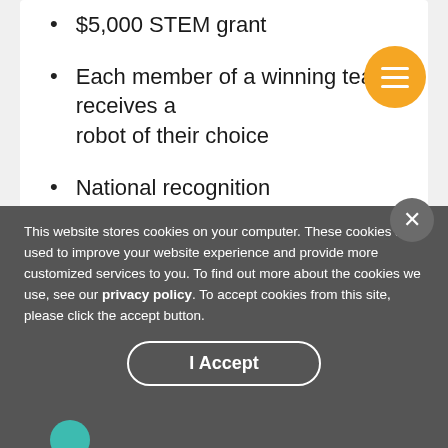$5,000 STEM grant
Each member of a winning team receives a robot of their choice
National recognition
Official Invitational Round Winning Team Certificates
This website stores cookies on your computer. These cookies are used to improve your website experience and provide more customized services to you. To find out more about the cookies we use, see our privacy policy. To accept cookies from this site, please click the accept button.